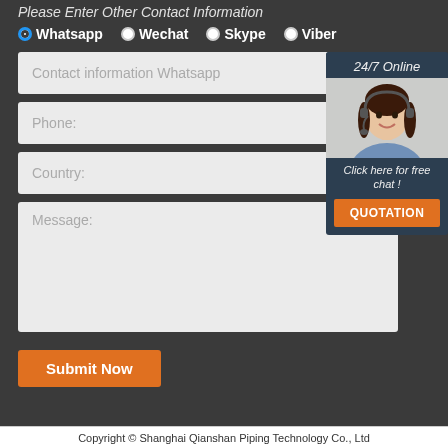Please Enter Other Contact Information
Whatsapp  Wechat  Skype  Viber
Contact information Whatsapp
Phone:
Country:
Message:
[Figure (photo): Customer service representative wearing headset, smiling, with '24/7 Online' header and 'Click here for free chat!' text and QUOTATION button]
Submit Now
Copyright © Shanghai Qianshan Piping Technology Co., Ltd